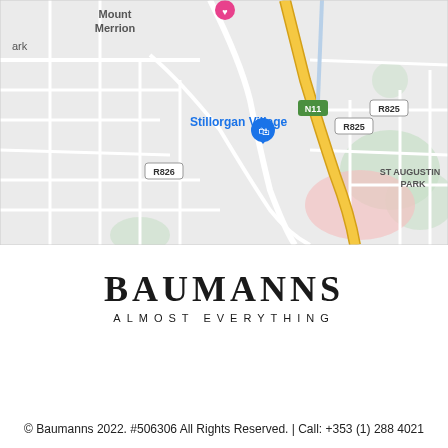[Figure (map): Google Maps view showing Stillorgan Village area in Dublin, Ireland. Shows roads including N11 (yellow highway), R825, R826, landmarks including Talbot Hotel Stillorgan (pink marker), Stillorgan Village (blue shopping bag marker), Mount Merrion area top-left, St Augustin Park bottom-right, green areas, and street grid.]
BAUMANNS
ALMOST EVERYTHING
© Baumanns 2022. #506306 All Rights Reserved. | Call: +353 (1) 288 4021